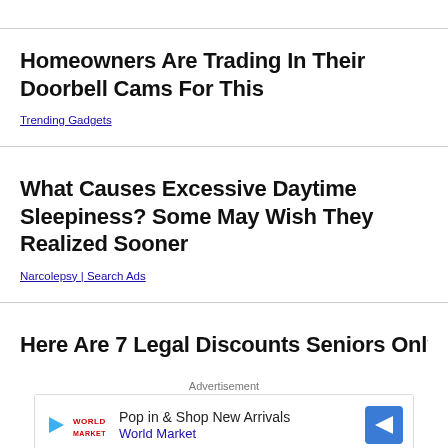Homeowners Are Trading In Their Doorbell Cams For This
Trending Gadgets
What Causes Excessive Daytime Sleepiness? Some May Wish They Realized Sooner
Narcolepsy | Search Ads
Here Are 7 Legal Discounts Seniors Only Get
Advertisement
Pop in & Shop New Arrivals World Market